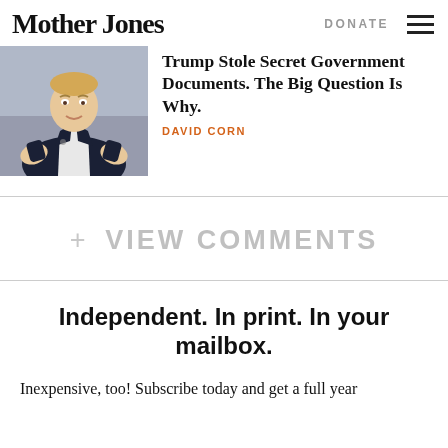Mother Jones
DONATE
[Figure (photo): Photo of Donald Trump gesturing with both hands, wearing a dark suit and red tie, in an official-looking setting]
Trump Stole Secret Government Documents. The Big Question Is Why.
DAVID CORN
+ VIEW COMMENTS
Independent. In print. In your mailbox.
Inexpensive, too! Subscribe today and get a full year